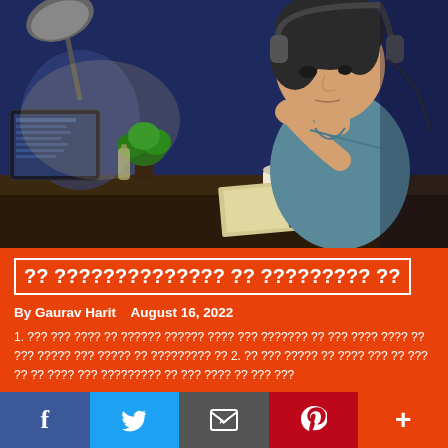[Figure (illustration): Anime-style illustration of a young man sitting at a desk at night, thinking with his hand on his chin, with a lamp, computer, plant, coffee cup, and notebook visible on the desk]
?? ?????????????? ?? ????????? ??
By Gaurav Harit    August 16, 2022
1. ??? ??? ???? ?? ?????? ?????? ???? ??? ??????? ?? ??? ???? ???? ?? ??? ????? ??? ????? ?? ????????? ?? 2. ?? ??? ????? ?? ???? ??? ?? ??? ?? ?? ???? ??? ????????? ?? ??? ???? ?? ??? ???